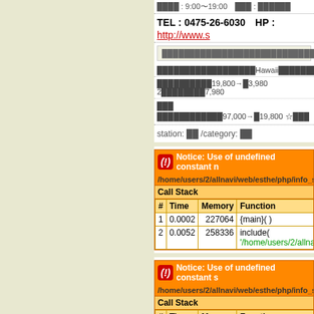TEL : 0475-26-6030  HP : http://www.s...
Japanese text (info box)
Japanese text with Hawaii reference and prices 19,800→3,980 2... 7,980
Japanese text 97,000→19,800
station: [jp] /category: [jp]
[Figure (screenshot): PHP Notice error block 1: Use of undefined constant n, /home/users/2/allnavi/web/esthe/php/info_st... Call Stack table with rows: 1 | 0.0002 | 227064 | {main}() and 2 | 0.0052 | 258336 | include('/home/users/2/allnavi/web...)]
[Figure (screenshot): PHP Notice error block 2: Use of undefined constant s, /home/users/2/allnavi/web/esthe/php/info_st... Call Stack table with rows: 1 | 0.0002 | 227064 | {main}() and 2 | 0.0052 | 258336 | include('/home/users/2/allnavi/web...)]